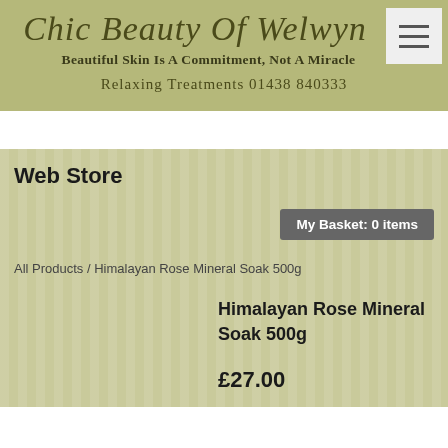Chic Beauty Of Welwyn
Beautiful Skin Is A Commitment, Not A Miracle   For
Relaxing Treatments 01438 840333
Web Store
My Basket: 0 items
All Products / Himalayan Rose Mineral Soak 500g
Himalayan Rose Mineral Soak 500g
£27.00